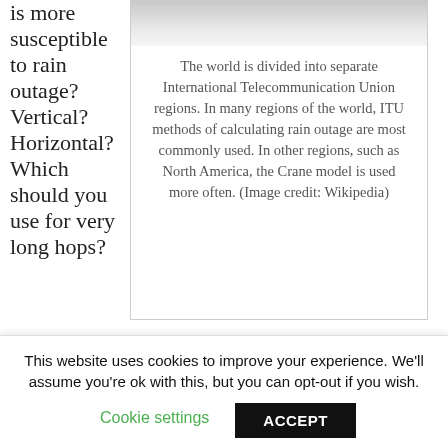is more susceptible to rain outage? Vertical? Horizontal? Which should you use for very long hops?
[Figure (photo): Map image (partially visible at top) showing ITU regions of the world]
The world is divided into separate International Telecommunication Union regions. In many regions of the world, ITU methods of calculating rain outage are most commonly used. In other regions, such as North America, the Crane model is used more often. (Image credit: Wikipedia)
What would you do besides add extra fade margin to mitigate rain outage? Do it better so the...
This website uses cookies to improve your experience. We'll assume you're ok with this, but you can opt-out if you wish.
Cookie settings
ACCEPT